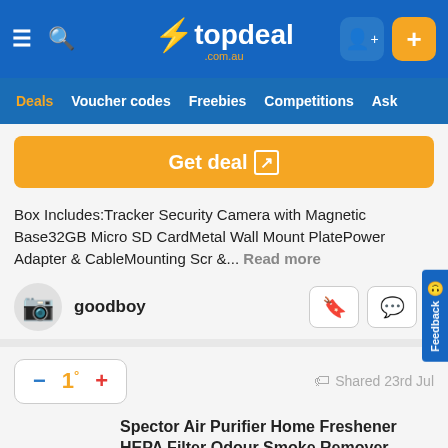[Figure (screenshot): topdeal.com.au website header with logo, hamburger menu, search icon, and user/add buttons]
topdeal.com.au
Deals  Voucher codes  Freebies  Competitions  Ask
Get deal
Box Includes:Tracker Security Camera with Magnetic Base32GB Micro SD CardMetal Wall Mount PlatePower Adapter & CableMounting Scr &... Read more
goodboy
1°  Shared 23rd Jul
Spector Air Purifier Home Freshener HEPA Filter Odour Smoke Remover Cleaner $219.99 (RRP $439.99) @ eBay AU
$219.99  $439.99  50%